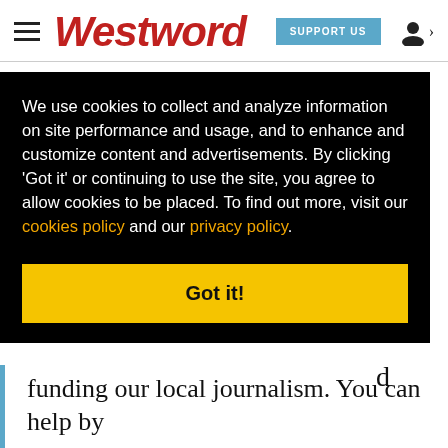Westword | SUPPORT US
weeping and Deeley's silence also threw me. In most productions, it's Deeley who weeps as the
We use cookies to collect and analyze information on site performance and usage, and to enhance and customize content and advertisements. By clicking 'Got it' or continuing to use the site, you agree to allow cookies to be placed. To find out more, visit our cookies policy and our privacy policy.
Got it!
funding our local journalism. You can help by